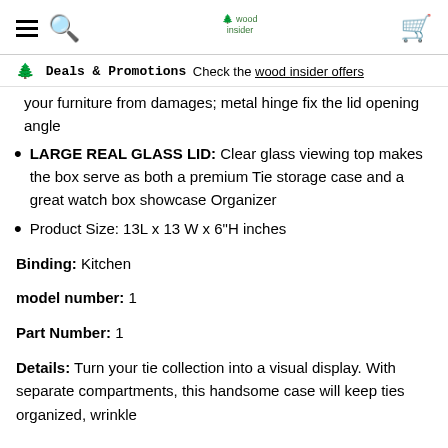wood insider (navigation bar with hamburger, search, logo, cart)
🌲 Deals & Promotions  Check the wood insider offers
your furniture from damages; metal hinge fix the lid opening angle
LARGE REAL GLASS LID: Clear glass viewing top makes the box serve as both a premium Tie storage case and a great watch box showcase Organizer
Product Size: 13L x 13 W x 6"H inches
Binding: Kitchen
model number: 1
Part Number: 1
Details: Turn your tie collection into a visual display. With separate compartments, this handsome case will keep ties organized, wrinkle